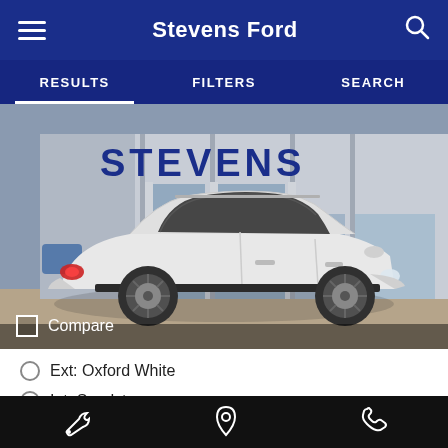Stevens Ford
RESULTS  FILTERS  SEARCH
[Figure (photo): White Ford Escape SUV parked in front of Stevens Ford dealership building. The dealership name STEVENS is visible on the building facade. The car is white and shown from the side.]
Compare
Ext: Oxford White
Int: Sandstone
Bottom navigation bar with wrench, location pin, and phone icons